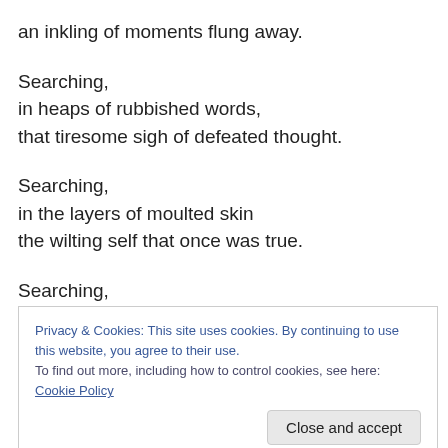an inkling of moments flung away.

Searching,
in heaps of rubbished words,
that tiresome sigh of defeated thought.

Searching,
in the layers of moulted skin
the wilting self that once was true.

Searching,
in the reflections between the ripples,
Privacy & Cookies: This site uses cookies. By continuing to use this website, you agree to their use.
To find out more, including how to control cookies, see here: Cookie Policy